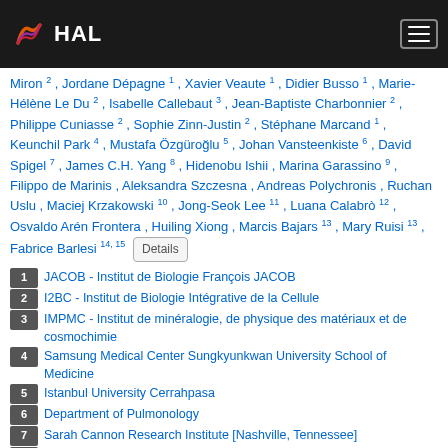HAL
Miron 2, Jordane Dépagne 1, Xavier Veaute 1, Didier Busso 1, Marie-Hélène Le Du 2, Isabelle Callebaut 3, Jean-Baptiste Charbonnier 2, Philippe Cuniasse 2, Sophie Zinn-Justin 2, Stéphane Marcand 1, Keunchil Park 4, Mustafa Özgüroğlu 5, Johan Vansteenkiste 6, David Spigel 7, James C.H. Yang 8, Hidenobu Ishii, Marina Garassino 9, Filippo de Marinis, Aleksandra Szczesna, Andreas Polychronis, Ruchan Uslu, Maciej Krzakowski 10, Jong-Seok Lee 11, Luana Calabrò 12, Osvaldo Arén Frontera, Huiling Xiong, Marcis Bajars 13, Mary Ruisi 13, Fabrice Barlesi 14, 15 Details
1 JACOB - Institut de Biologie François JACOB
2 I2BC - Institut de Biologie Intégrative de la Cellule
3 IMPMC - Institut de minéralogie, de physique des matériaux et de cosmochimie
4 Samsung Medical Center Sungkyunkwan University School of Medicine
5 Istanbul University Cerrahpasa
6 Department of Pulmonology
7 Sarah Cannon Research Institute [Nashville, Tennessee]
8 National Taiwan University Cancer Center [Taipei]
9 IRCCS Istituto Nazionale dei Tumori [Milano]
10 Institut de Recherche Pierre Fabre
11 SNUBH - Seoul National University Bundang Hospital
12 Azienda Ospedaliera Universitaria Senese
13 EMD Serono Research & Development Institute
14 IGR - Institut Gustave Roussy